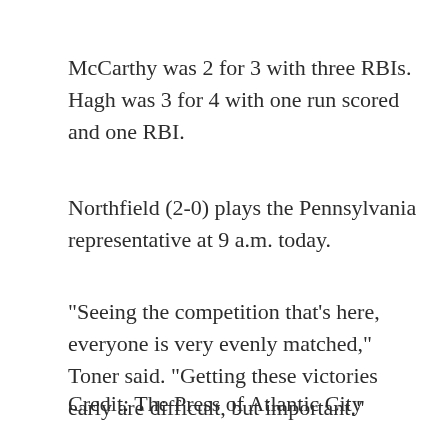McCarthy was 2 for 3 with three RBIs. Hagh was 3 for 4 with one run scored and one RBI.
Northfield (2-0) plays the Pennsylvania representative at 9 a.m. today.
"Seeing the competition that's here, everyone is very evenly matched," Toner said. "Getting these victories early are difficult, but important."
Credit: The Press of Atlantic City